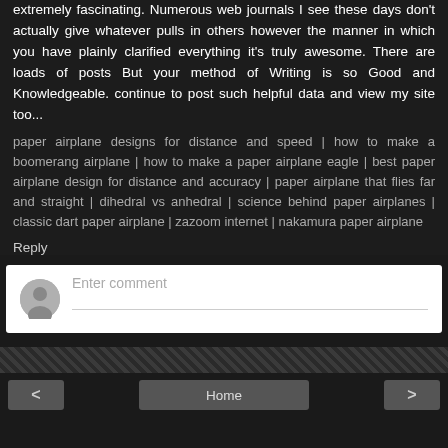extremely fascinating. Numerous web journals I see these days don't actually give whatever pulls in others however the manner in which you have plainly clarified everything it's truly awesome. There are loads of posts But your method of Writing is so Good and Knowledgeable. continue to post such helpful data and view my site too...
paper airplane designs for distance and speed | how to make a boomerang airplane | how to make a paper airplane eagle | best paper airplane design for distance and accuracy | paper airplane that flies far and straight | dihedral vs anhedral | science behind paper airplanes | classic dart paper airplane | zazoom internet | nakamura paper airplane
Reply
[Figure (screenshot): Comment input box with avatar icon and placeholder text 'Enter comment']
< Home >